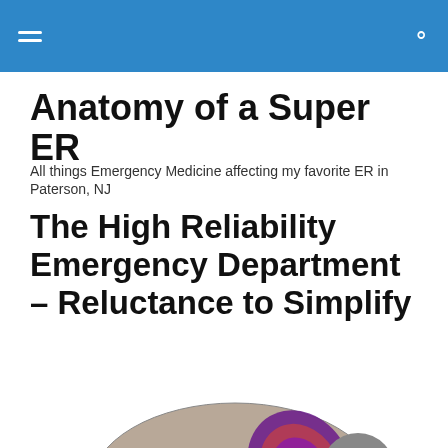[hamburger menu icon] [search icon]
Anatomy of a Super ER
All things Emergency Medicine affecting my favorite ER in Paterson, NJ
The High Reliability Emergency Department – Reluctance to Simplify
[Figure (illustration): Illustration of an elephant with a brick-pattern body, wooden legs, a decorative fan/peacock feather on its side, and a rope-like trunk holding a green object. The elephant faces right with a gray head and white tusk visible.]